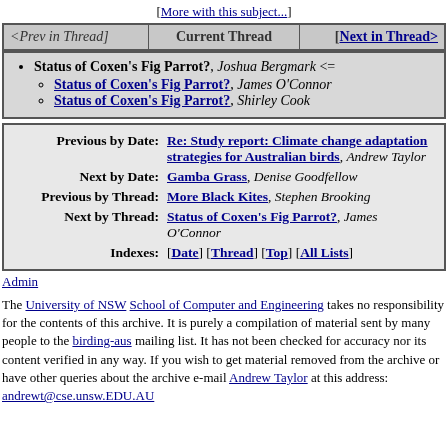[More with this subject...]
| <Prev in Thread] | Current Thread | [Next in Thread> |
| --- | --- | --- |
Status of Coxen's Fig Parrot?, Joshua Bergmark <=
Status of Coxen's Fig Parrot?, James O'Connor
Status of Coxen's Fig Parrot?, Shirley Cook
| Previous by Date: | Re: Study report: Climate change adaptation strategies for Australian birds, Andrew Taylor |
| Next by Date: | Gamba Grass, Denise Goodfellow |
| Previous by Thread: | More Black Kites, Stephen Brooking |
| Next by Thread: | Status of Coxen's Fig Parrot?, James O'Connor |
| Indexes: | [Date] [Thread] [Top] [All Lists] |
Admin
The University of NSW School of Computer and Engineering takes no responsibility for the contents of this archive. It is purely a compilation of material sent by many people to the birding-aus mailing list. It has not been checked for accuracy nor its content verified in any way. If you wish to get material removed from the archive or have other queries about the archive e-mail Andrew Taylor at this address: andrewt@cse.unsw.EDU.AU